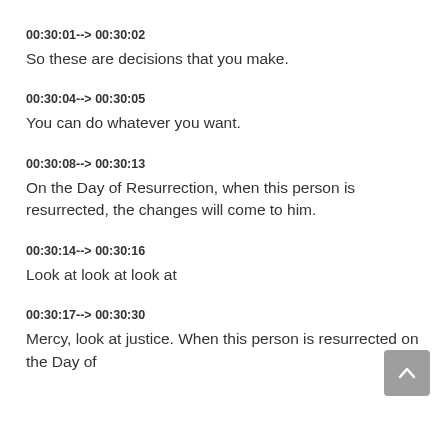00:30:01--> 00:30:02
So these are decisions that you make.
00:30:04--> 00:30:05
You can do whatever you want.
00:30:08--> 00:30:13
On the Day of Resurrection, when this person is resurrected, the changes will come to him.
00:30:14--> 00:30:16
Look at look at look at
00:30:17--> 00:30:30
Mercy, look at justice. When this person is resurrected on the Day of